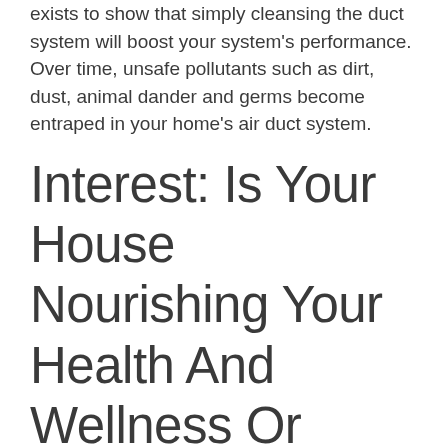exists to show that simply cleansing the duct system will boost your system's performance. Over time, unsafe pollutants such as dirt, dust, animal dander and germs become entraped in your home's air duct system.
Interest: Is Your House Nourishing Your Health And Wellness Or Killing You? Learn Why Clean Air Is Critical To A Healthy And Balanced Way Of